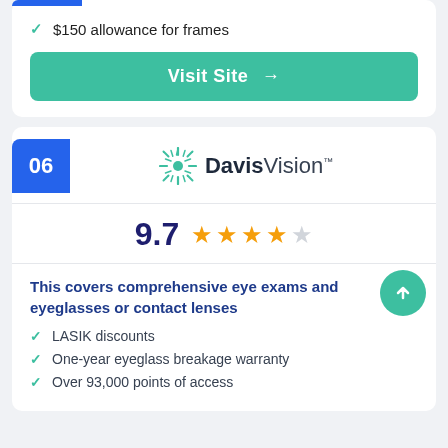$150 allowance for frames
Visit Site →
06
[Figure (logo): Davis Vision sunburst logo with text 'DavisVision']
9.7 ★★★★☆
This covers comprehensive eye exams and eyeglasses or contact lenses
LASIK discounts
One-year eyeglass breakage warranty
Over 93,000 points of access